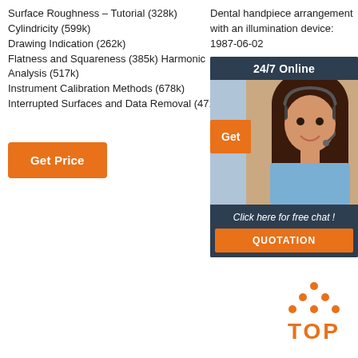Surface Roughness – Tutorial (328k)
Cylindricity (599k)
Drawing Indication (262k)
Flatness and Squareness (385k) Harmonic Analysis (517k)
Instrument Calibration Methods (678k)
Interrupted Surfaces and Data Removal (471k)
Dental handpiece arrangement with an illumination device: 1987-06-02
[Figure (infographic): 24/7 Online chat advertisement box with a woman wearing a headset, Get button, Click here for free chat text, and QUOTATION button]
[Figure (logo): TOP logo with orange dots arranged in a triangle above the word TOP in orange]
Get Price